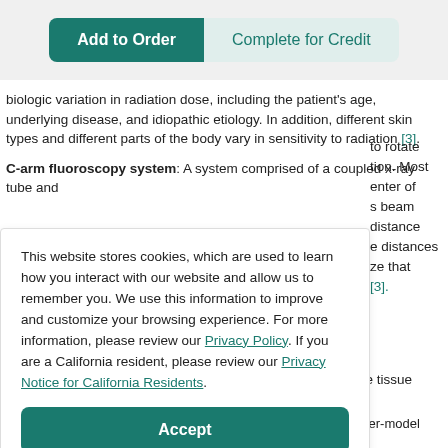[Figure (screenshot): Add to Order and Complete for Credit buttons at top of page]
biologic variation in radiation dose, including the patient's age, underlying disease, and idiopathic etiology. In addition, different skin types and different parts of the body vary in sensitivity to radiation [3].
C-arm fluoroscopy system: A system comprised of a coupled x-ray tube and ... to rotate ... tion. Most ... enter of ... s beam ... distance ... e distances ... ze that ... [3].
This website stores cookies, which are used to learn how you interact with our website and allow us to remember you. We use this information to improve and customize your browsing experience. For more information, please review our Privacy Policy. If you are a California resident, please review our Privacy Notice for California Residents.
... ne tissue
Techniques used for estimating effective dose rely on a computer-model body